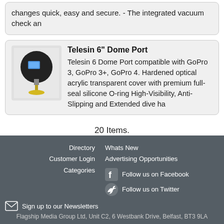changes quick, easy and secure. - The integrated vacuum check an
Telesin 6" Dome Port
Telesin 6 Dome Port compatible with GoPro 3, GoPro 3+, GoPro 4. Hardened optical acrylic transparent cover with premium full-seal silicone O-ring High-Visibility, Anti-Slipping and Extended dive ha
20 Items.
Page 1 of 1
Directory
Customer Login
Categories
Whats New
Advertising Opportunities
Follow us on Facebook
Follow us on Twitter
Sign up to our Newsletters
Flagship Media Group Ltd, Unit C2, 6 Westbank Drive, Belfast, BT3 9LA